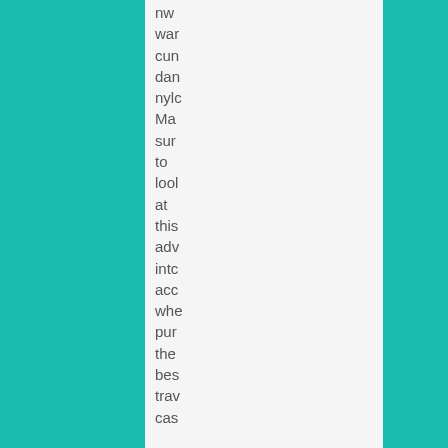nw
war
cun
dan
nylc
Ma
sur
to
lool
at
this
adv
intc
acc
whe
pur
the
bes
trav
cas